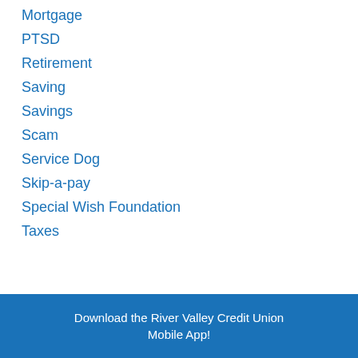Mortgage
PTSD
Retirement
Saving
Savings
Scam
Service Dog
Skip-a-pay
Special Wish Foundation
Taxes
Download the River Valley Credit Union Mobile App!